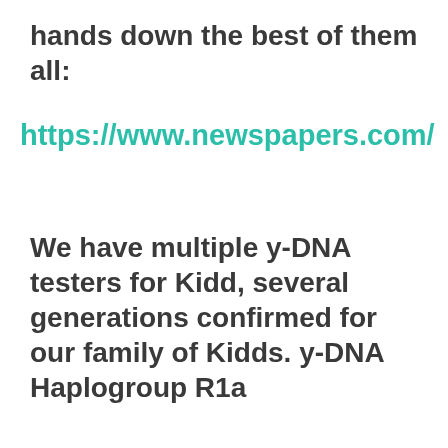hands down the best of them all:
https://www.newspapers.com/
We have multiple y-DNA testers for Kidd, several generations confirmed for our family of Kidds. y-DNA Haplogroup R1a